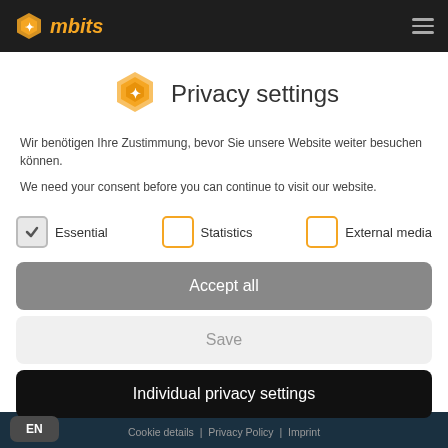mbits
Privacy settings
Wir benötigen Ihre Zustimmung, bevor Sie unsere Website weiter besuchen können.
We need your consent before you can continue to visit our website.
Essential  Statistics  External media
Accept all
Save
Individual privacy settings
Cookie details | Privacy Policy | Imprint